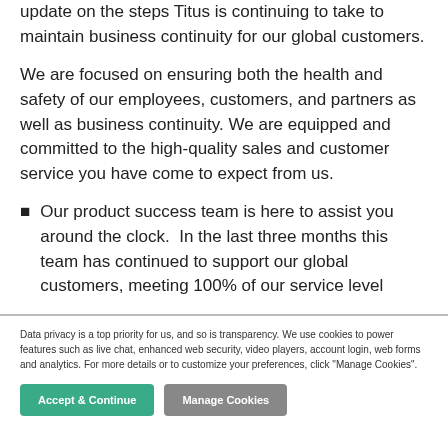update on the steps Titus is continuing to take to maintain business continuity for our global customers.
We are focused on ensuring both the health and safety of our employees, customers, and partners as well as business continuity. We are equipped and committed to the high-quality sales and customer service you have come to expect from us.
Our product success team is here to assist you around the clock.  In the last three months this team has continued to support our global customers, meeting 100% of our service level
Data privacy is a top priority for us, and so is transparency. We use cookies to power features such as live chat, enhanced web security, video players, account login, web forms and analytics. For more details or to customize your preferences, click "Manage Cookies".